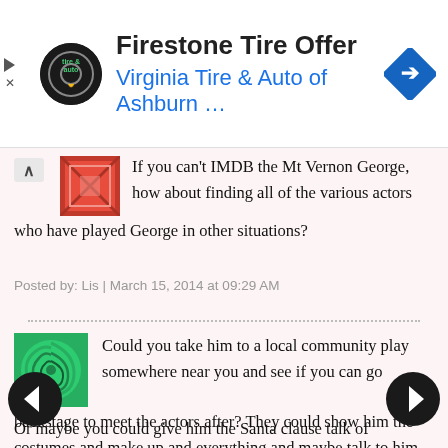[Figure (screenshot): Advertisement banner for Firestone Tire Offer from Virginia Tire & Auto of Ashburn]
If you can't IMDB the Mt Vernon George, how about finding all of the various actors who have played George in other situations?
Posted by: Lis | March 15, 2014 at 09:29 AM
Could you take him to a local community play somewhere near you and see if you can go backstage to meet the actors after? They could show him the costumes and make up and everything and maybe talk to him about what it's like being an actor and pretending to be someone else.
Or maybe you could give him the Santa clause talk of